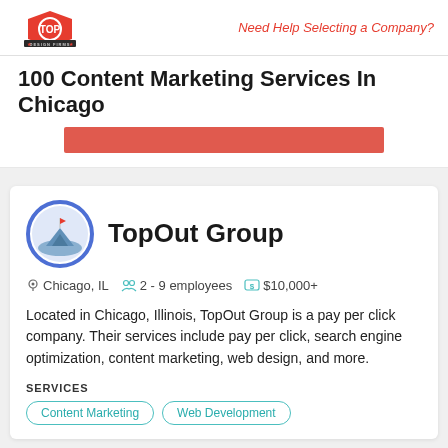Top Design Firms | Need Help Selecting a Company?
100 Content Marketing Services In Chicago
TopOut Group
Chicago, IL   2 - 9 employees   $10,000+
Located in Chicago, Illinois, TopOut Group is a pay per click company. Their services include pay per click, search engine optimization, content marketing, web design, and more.
SERVICES
Content Marketing
Web Development